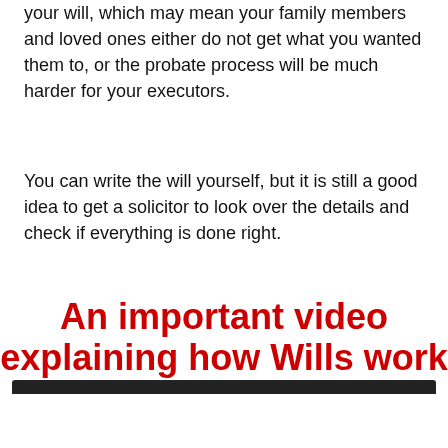your will, which may mean your family members and loved ones either do not get what you wanted them to, or the probate process will be much harder for your executors.
You can write the will yourself, but it is still a good idea to get a solicitor to look over the details and check if everything is done right.
An important video explaining how Wills work
[Figure (infographic): Red banner with a pointing hand emoji and a yellow rounded button saying 'Click here to create an online Will in less than 15 minutes']